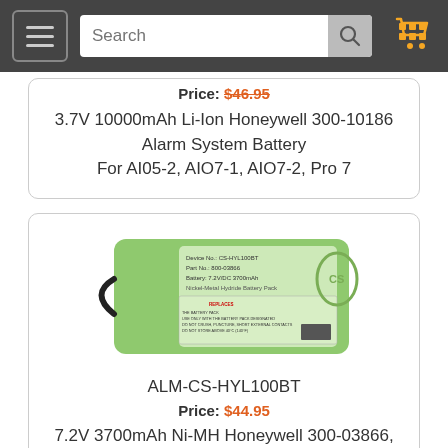Navigation bar with menu, search, and cart
Price: $46.95
3.7V 10000mAh Li-Ion Honeywell 300-10186 Alarm System Battery For AI05-2, AIO7-1, AIO7-2, Pro 7
[Figure (photo): Green Ni-MH battery pack with label showing CS-HYL100BT, warranty text and barcode]
ALM-CS-HYL100BT
Price: $44.95
7.2V 3700mAh Ni-MH Honeywell 300-03866,